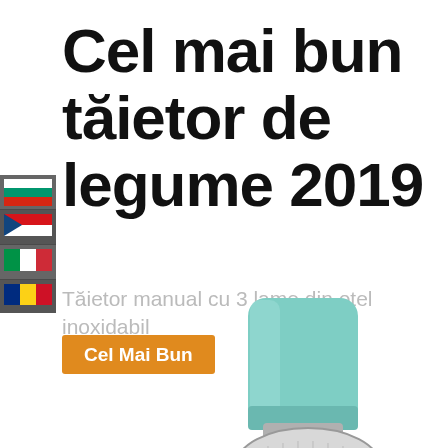Cel mai bun tăietor de legume 2019
Tăietor manual cu 3 lame din oțel inoxidabil
[Figure (illustration): Small flag icons panel showing flags of Bulgaria, Czech Republic, Italy, and Romania stacked vertically on the left side]
Cel Mai Bun
[Figure (photo): A teal/mint colored manual vegetable slicer/grater with three stainless steel drum blades, shown at an angle against a white background]